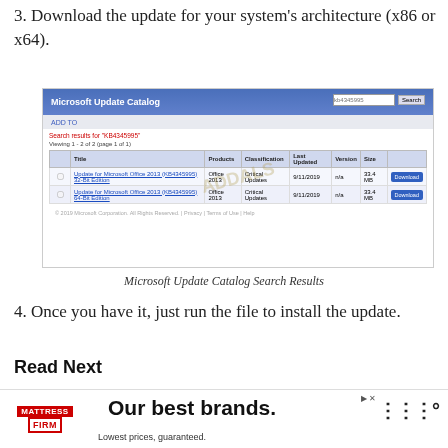3. Download the update for your system's architecture (x86 or x64).
[Figure (screenshot): Microsoft Update Catalog search results showing two Office 2013 update entries with Download buttons]
Microsoft Update Catalog Search Results
4. Once you have it, just run the file to install the update.
Read Next
Fix Windows Update Error 0XC19001E2 in Windows 10
[Figure (photo): Mattress Firm advertisement banner: Our best brands. Lowest prices, guaranteed.]